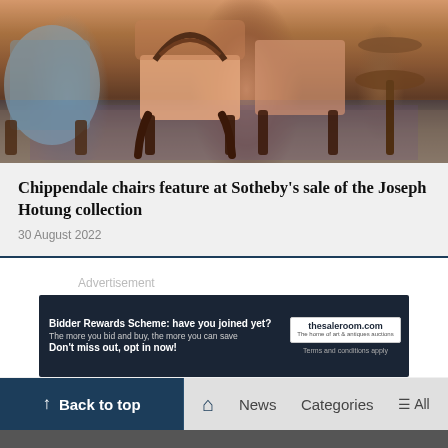[Figure (photo): Antique Chippendale-style chairs with carved dark wood frames and pink upholstery, set on an ornate patterned rug in a room setting, with a blue upholstered chair visible on the left and a small side table on the right.]
Chippendale chairs feature at Sotheby's sale of the Joseph Hotung collection
30 August 2022
Advertisement
[Figure (screenshot): Advertisement banner for thesaleroom.com - Bidder Rewards Scheme: have you joined yet? The more you bid and buy, the more you can save. Don't miss out, opt in now! Terms and conditions apply.]
Back to top | Home | News | Categories | All